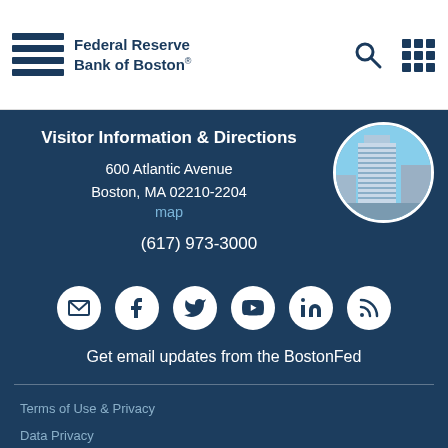Federal Reserve Bank of Boston
Visitor Information & Directions
600 Atlantic Avenue
Boston, MA 02210-2204
map
(617) 973-3000
[Figure (photo): Circular photo of Federal Reserve Bank of Boston building]
[Figure (infographic): Social media icons: email, Facebook, Twitter, YouTube, LinkedIn, RSS]
Get email updates from the BostonFed
Terms of Use & Privacy
Data Privacy